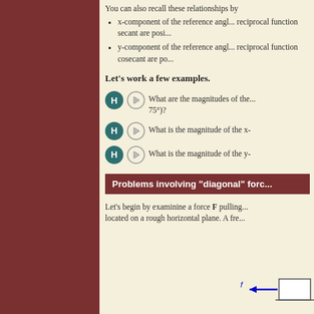You can also recall these relationships by
x-component of the reference angl... reciprocal function secant are posi...
y-component of the reference angl... reciprocal function cosecant are po...
Let's work a few examples.
What are the magnitudes of the... 75°)?
What is the magnitude of the x-
What is the magnitude of the y-
Problems involving "diagonal" forc...
Let's begin by examinine a force F pulling... located on a rough horizontal plane. A fre...
[Figure (engineering-diagram): Partial free body diagram showing a force f with a blue arrow pointing left, and a rectangle representing an object on a horizontal plane.]